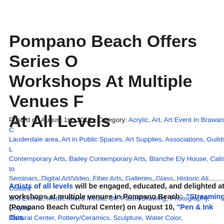Pompano Beach Offers Series Of Workshops At Multiple Venues For Artists At All Levels
Posted on August 1st, 2019 • Category: Acrylic, Art, Art Event In Broward County/Fort Lauderdale area, Art in Public Spaces, Art Supplies, Associations, Guilds, Leagues, Bailey Contemporary Arts, Blanche Ely House, Calls to Artists, Classes, Seminars, Digital Art/Video, Fiber Arts, Galleries, Glass, Historic Ali Cultural Center, Shows and Events, Metal, Mixed Media, Oil, Pastel/Drawing, Photography, Polymer Clay, Riviera Cultural Center, Pottery/Ceramics, Sculpture, Water Color, Weaving/Fabric/Fiber
Artists of all levels will be engaged, educated, and delighted at a series of workshops at multiple venues in Pompano Beach: "Streaming Watercolor" (Pompano Beach Cultural Center) on August 10, "Pen & Ink Illustration" (Bailey Contemporary Arts) on September 14, and "Creative Workshops" (Blanche Ely House) on the 3rd Saturday of the month-September 21. The Riviera details and urges our readers to take advantage of these three creative opportunities.